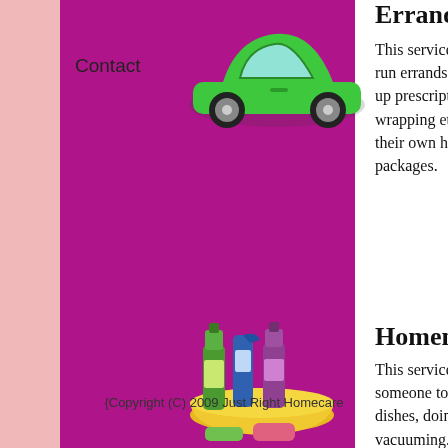Contact
Errand Service
This service is he... run errands. This... up prescriptions,... wrapping etc. Th... their own househ... packages.
[Figure (illustration): Green cartoon Volkswagen Beetle car]
Homemaking
This service is he... someone to assis... dishes, doing lau... vacuuming. Hom... maintain their ov... or all tasks of dai...
[Figure (illustration): Yellow basket with cleaning supplies including spray bottles and soap]
Personal Care
This service is he... someone to assis... Workers are train... transferring, Hoy... for someone at h...
[Figure (illustration): Yellow rubber duck toy]
{Copyright (C) 2009 Just Right Homecare